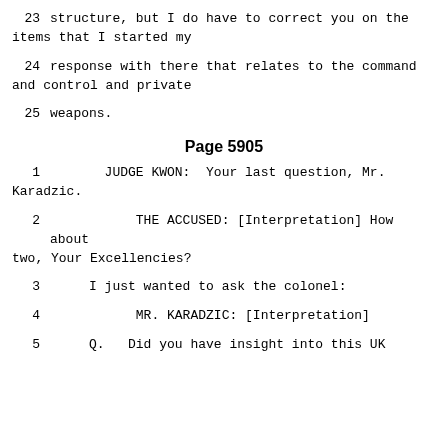23    structure, but I do have to correct you on the items that I started my
24    response with there that relates to the command and control and private
25    weapons.
Page 5905
1         JUDGE KWON:  Your last question, Mr. Karadzic.
2              THE ACCUSED: [Interpretation] How about two, Your Excellencies?
3      I just wanted to ask the colonel:
4              MR. KARADZIC: [Interpretation]
5      Q.   Did you have insight into this UK